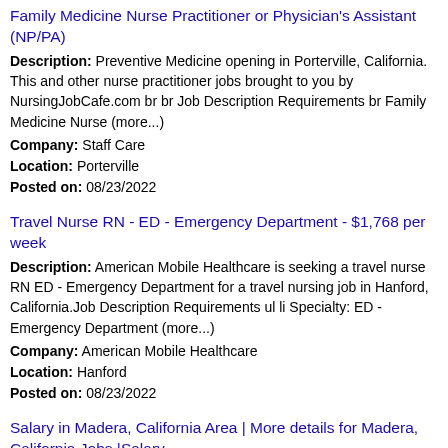Family Medicine Nurse Practitioner or Physician's Assistant (NP/PA)
Description: Preventive Medicine opening in Porterville, California. This and other nurse practitioner jobs brought to you by NursingJobCafe.com br br Job Description Requirements br Family Medicine Nurse (more...)
Company: Staff Care
Location: Porterville
Posted on: 08/23/2022
Travel Nurse RN - ED - Emergency Department - $1,768 per week
Description: American Mobile Healthcare is seeking a travel nurse RN ED - Emergency Department for a travel nursing job in Hanford, California.Job Description Requirements ul li Specialty: ED - Emergency Department (more...)
Company: American Mobile Healthcare
Location: Hanford
Posted on: 08/23/2022
Salary in Madera, California Area | More details for Madera, California Jobs |Salary